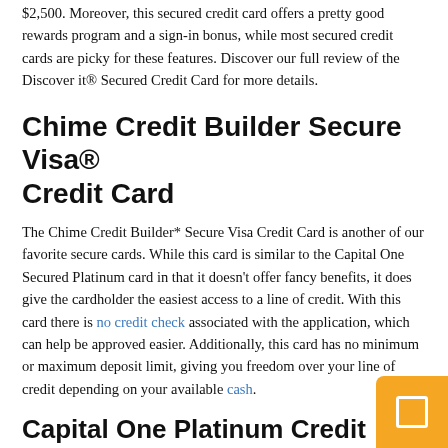$2,500. Moreover, this secured credit card offers a pretty good rewards program and a sign-in bonus, while most secured credit cards are picky for these features. Discover our full review of the Discover it® Secured Credit Card for more details.
Chime Credit Builder Secure Visa® Credit Card
The Chime Credit Builder* Secure Visa Credit Card is another of our favorite secure cards. While this card is similar to the Capital One Secured Platinum card in that it doesn't offer fancy benefits, it does give the cardholder the easiest access to a line of credit. With this card there is no credit check associated with the application, which can help be approved easier. Additionally, this card has no minimum or maximum deposit limit, giving you freedom over your line of credit depending on your available cash.
Capital One Platinum Credit Card
If you think you are about to qualify for a traditional credit card, you can skip the Capital One Platinum Secured Credit Card application and go for the Capital One Platinum Credit Card instead.